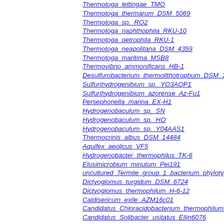Thermotoga_lettingae_TMO
Thermotoga_thermarum_DSM_5069
Thermotoga_sp._RQ2
Thermotoga_naphthophila_RKU-10
Thermotoga_petrophila_RKU-1
Thermotoga_neapolitana_DSM_4359
Thermotoga_maritima_MSB8
Thermovibrio_ammonificans_HB-1
Desulfurobacterium_thermolithotrophum_DSM_11
Sulfurihydrogenibium_sp._YO3AOP1
Sulfurihydrogenibium_azorense_Az-Fu1
Persephonella_marina_EX-H1
Hydrogenobaculum_sp._SN
Hydrogenobaculum_sp._HO
Hydrogenobaculum_sp._Y04AAS1
Thermocrinis_albus_DSM_14484
Aquifex_aeolicus_VF5
Hydrogenobacter_thermophilus_TK-6
Elusimicrobium_minutum_Pei191
uncultured_Termite_group_1_bacterium_phylotype
Dictyoglomus_turgidum_DSM_6724
Dictyoglomus_thermophilum_H-6-12
Caldisericum_exile_AZM16c01
Candidatus_Chloracidobacterium_thermophilum_B
Candidatus_Solibacter_usitatus_Ellin6076
Granulicella_tundricola_MP5ACTX9
Granulicella_mallensis_MP5ACTX8
Candidatus_Koribacter_versatilis_Ellin345
Terriglobus_saanensis_SP1PR4
Terriglobus_roseus_DSM_18391